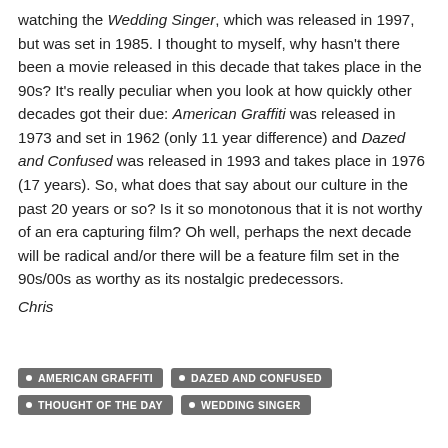watching the Wedding Singer, which was released in 1997, but was set in 1985. I thought to myself, why hasn't there been a movie released in this decade that takes place in the 90s? It's really peculiar when you look at how quickly other decades got their due: American Graffiti was released in 1973 and set in 1962 (only 11 year difference) and Dazed and Confused was released in 1993 and takes place in 1976 (17 years). So, what does that say about our culture in the past 20 years or so? Is it so monotonous that it is not worthy of an era capturing film? Oh well, perhaps the next decade will be radical and/or there will be a feature film set in the 90s/00s as worthy as its nostalgic predecessors.
Chris
AMERICAN GRAFFITI
DAZED AND CONFUSED
THOUGHT OF THE DAY
WEDDING SINGER